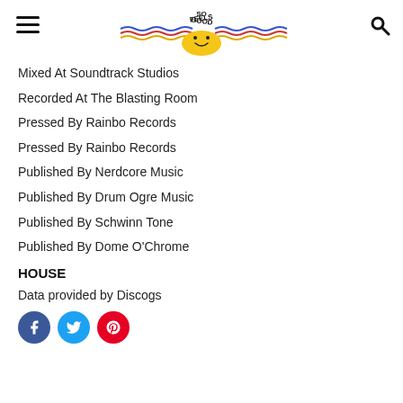[Figure (logo): Feels So Good logo with smiley sun and wavy colored lines]
Mixed At Soundtrack Studios
Recorded At The Blasting Room
Pressed By Rainbo Records
Pressed By Rainbo Records
Published By Nerdcore Music
Published By Drum Ogre Music
Published By Schwinn Tone
Published By Dome O'Chrome
HOUSE
Data provided by Discogs
[Figure (infographic): Social media icons: Facebook (blue), Twitter (blue), Pinterest (red)]